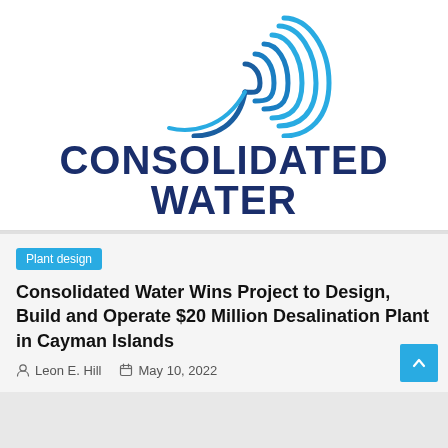[Figure (logo): Consolidated Water company logo with blue concentric arc swoosh above the company name in dark navy bold text]
Plant design
Consolidated Water Wins Project to Design, Build and Operate $20 Million Desalination Plant in Cayman Islands
Leon E. Hill   May 10, 2022